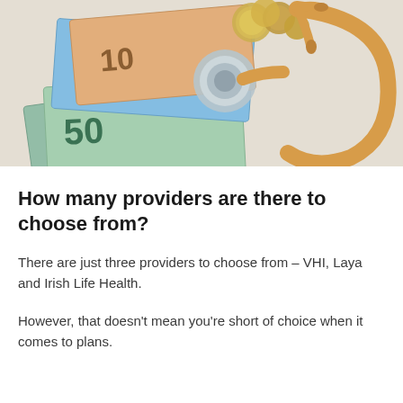[Figure (photo): A photo showing euro banknotes (10, 20, 50 denominations) with coins and a yellow/gold stethoscope on a light background, representing health insurance costs.]
How many providers are there to choose from?
There are just three providers to choose from – VHI, Laya and Irish Life Health.
However, that doesn't mean you're short of choice when it comes to plans.